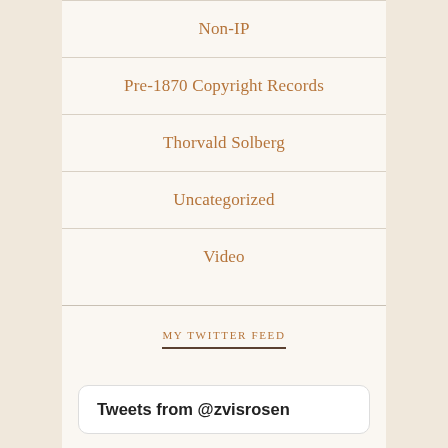Non-IP
Pre-1870 Copyright Records
Thorvald Solberg
Uncategorized
Video
MY TWITTER FEED
Tweets from @zvisrosen